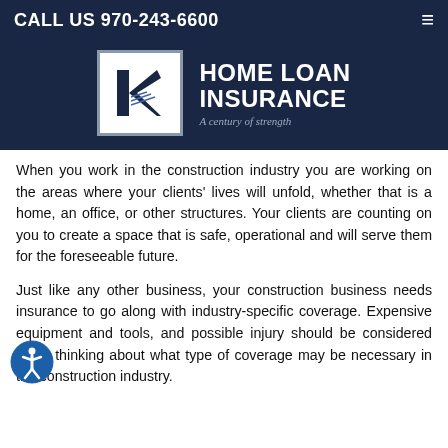CALL US 970-243-6600
[Figure (logo): Home Loan Insurance logo with stylized K letter mark and tagline 'A century of strength' on dark navy background]
When you work in the construction industry you are working on the areas where your clients' lives will unfold, whether that is a home, an office, or other structures. Your clients are counting on you to create a space that is safe, operational and will serve them for the foreseeable future.
Just like any other business, your construction business needs insurance to go along with industry-specific coverage. Expensive equipment and tools, and possible injury should be considered when thinking about what type of coverage may be necessary in the construction industry.